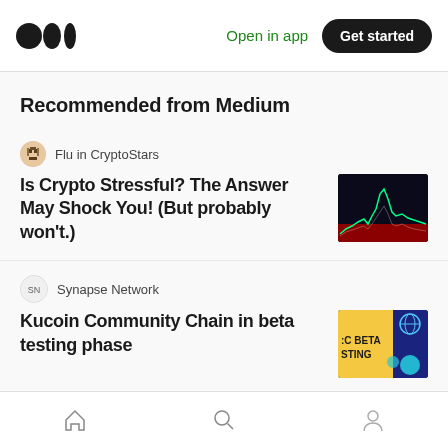Medium — Open in app | Get started
Recommended from Medium
Flu in CryptoStars
Is Crypto Stressful? The Answer May Shock You! (But probably won't.)
[Figure (photo): Dark chart with crypto price spike, red background at bottom]
Synapse Network
Kucoin Community Chain in beta testing phase
[Figure (photo): KCC Beta Testing banner with globe icon and navy/yellow background]
Obengmin
10. Reef Finance $reef 9.
Home | Search | Profile